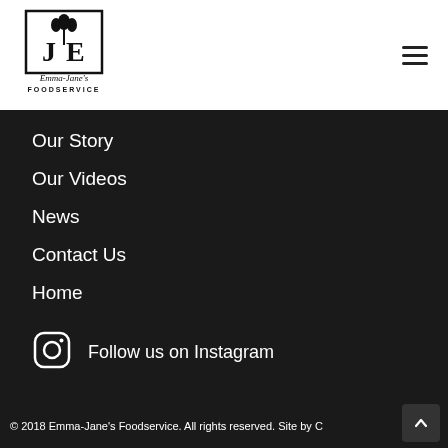[Figure (logo): Emma-Jane's Foodservice logo — stylized JE monogram with tulip, black on white, with text 'Emma-Jane's FOODSERVICE' below]
Our Story
Our Videos
News
Contact Us
Home
[Figure (logo): Instagram icon — rounded square outline with circle and dot]
Follow us on Instagram
© 2018 Emma-Jane's Foodservice. All rights reserved. Site by C